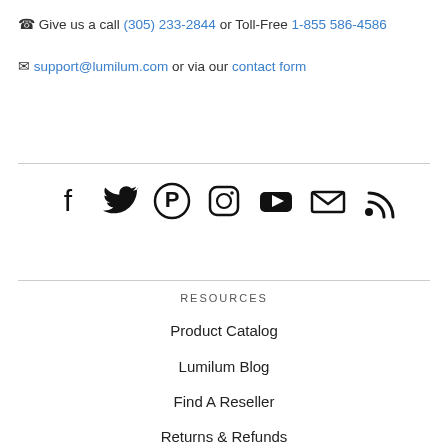☎ Give us a call (305) 233-2844 or Toll-Free 1-855 586-4586
✉ support@lumilum.com or via our contact form
[Figure (infographic): Row of 7 social media icons: Facebook, Twitter, Pinterest, Instagram, YouTube, Email, RSS]
RESOURCES
Product Catalog
Lumilum Blog
Find A Reseller
Returns & Refunds